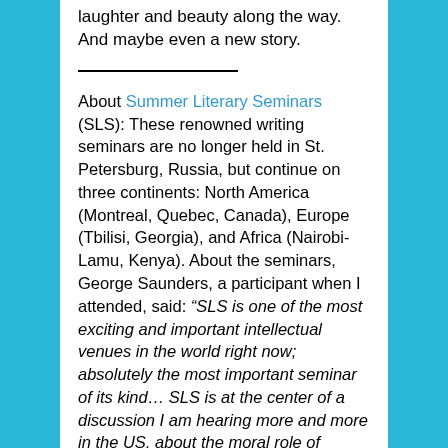laughter and beauty along the way. And maybe even a new story.
About Summer Literary Seminars (SLS): These renowned writing seminars are no longer held in St. Petersburg, Russia, but continue on three continents: North America (Montreal, Quebec, Canada), Europe (Tbilisi, Georgia), and Africa (Nairobi-Lamu, Kenya). About the seminars, George Saunders, a participant when I attended, said: “SLS is one of the most exciting and important intellectual venues in the world right now; absolutely the most important seminar of its kind… SLS is at the center of a discussion I am hearing more and more in the US, about the moral role of